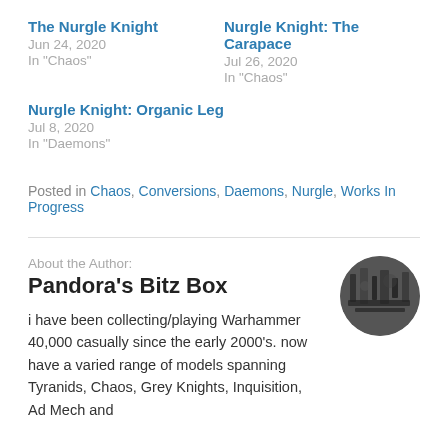The Nurgle Knight
Jun 24, 2020
In "Chaos"
Nurgle Knight: The Carapace
Jul 26, 2020
In "Chaos"
Nurgle Knight: Organic Leg
Jul 8, 2020
In "Daemons"
Posted in Chaos, Conversions, Daemons, Nurgle, Works In Progress
About the Author:
Pandora's Bitz Box
[Figure (photo): Circular avatar photo of the author, showing a dark monochrome image of Warhammer models/miniatures]
i have been collecting/playing Warhammer 40,000 casually since the early 2000's. now have a varied range of models spanning Tyranids, Chaos, Grey Knights, Inquisition, Ad Mech and